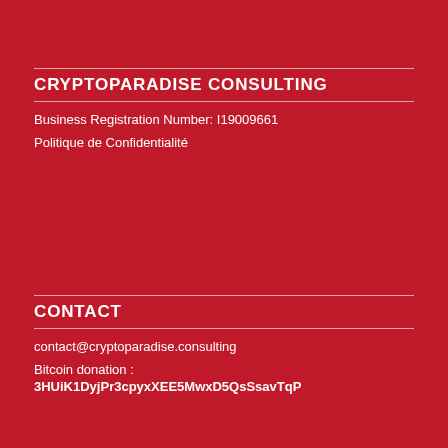CRYPTOPARADISE CONSULTING
Business Registration Number: I19009661
Politique de Confidentialité
CONTACT
contact@cryptoparadise.consulting
Bitcoin donation :
3HUiK1DyjPr3cpyxXEE5MwxD5QsSsavTqP